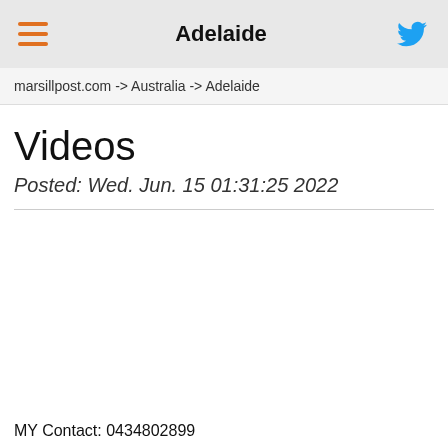Adelaide
marsillpost.com -> Australia -> Adelaide
Videos
Posted: Wed. Jun. 15 01:31:25 2022
MY Contact: 0434802899